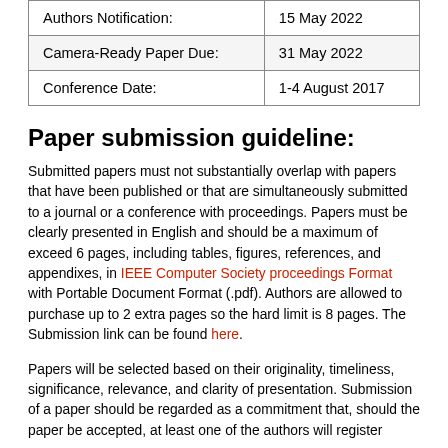| Authors Notification: | 15 May 2022 |
| Camera-Ready Paper Due: | 31 May 2022 |
| Conference Date: | 1-4 August 2017 |
Paper submission guideline:
Submitted papers must not substantially overlap with papers that have been published or that are simultaneously submitted to a journal or a conference with proceedings. Papers must be clearly presented in English and should be a maximum of exceed 6 pages, including tables, figures, references, and appendixes, in IEEE Computer Society proceedings Format with Portable Document Format (.pdf). Authors are allowed to purchase up to 2 extra pages so the hard limit is 8 pages. The Submission link can be found here.
Papers will be selected based on their originality, timeliness, significance, relevance, and clarity of presentation. Submission of a paper should be regarded as a commitment that, should the paper be accepted, at least one of the authors will register